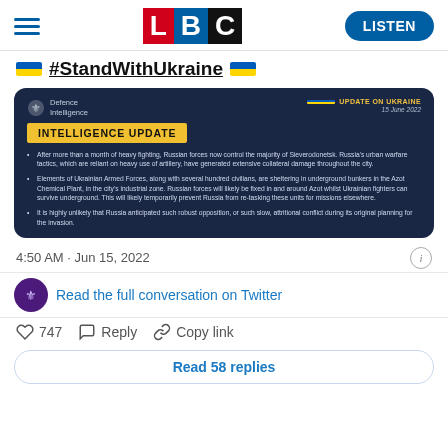LBC LISTEN
#StandWithUkraine
[Figure (infographic): UK Defence Intelligence Update on Ukraine dated 15 June 2022 with dark navy background. Contains yellow 'INTELLIGENCE UPDATE' badge and three bullet points: (1) After more than a month of heavy fighting, Russian forces now control the majority of Sieverodonetsk. Russia's urban warfare tactics, which are reliant on heavy use of artillery, have generated extensive collateral damage throughout the city. (2) Elements of Ukrainian Armed Forces, along with several hundred civilians, are sheltering in underground bunkers in the Azot Chemical Plant, in the city's industrial zone. Russian forces will likely be fixed in and around Azot whilst Ukrainian fighters can survive underground. This will likely temporarily prevent Russia from re-tasking these units for missions elsewhere. (3) It is highly unlikely that Russia anticipated such robust opposition, or such slow, attritional conflict during its original planning for the invasion.]
4:50 AM · Jun 15, 2022
Read the full conversation on Twitter
747  Reply  Copy link
Read 58 replies